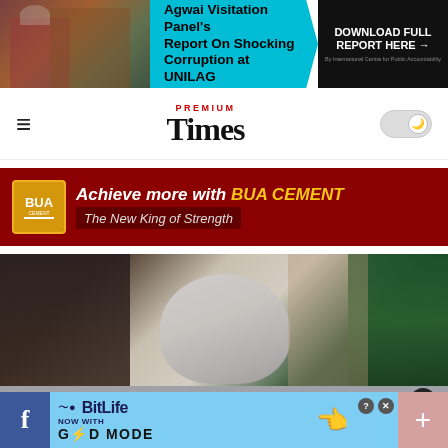[Figure (infographic): Top advertisement banner: Agwai Visitation Panel's Report On Shocking Corruption at UNILAG, with DOWNLOAD FULL REPORT HERE arrow, on teal/cyan background with building photo on left]
[Figure (logo): Premium Times newspaper logo with hamburger menu icon on left and dark mode toggle on right]
[Figure (infographic): BUA Cement advertisement on dark red background: 'Achieve more with BUA CEMENT - The New King of Strength' with BUA logo]
[Figure (photo): News photo showing person wearing white traditional hat, surrounded by other figures, partially blurred]
[Figure (infographic): Bottom floating ad bar: BitLife game ad 'NOW WITH GOD MODE' with Facebook button on left and plus button on right, close button visible]